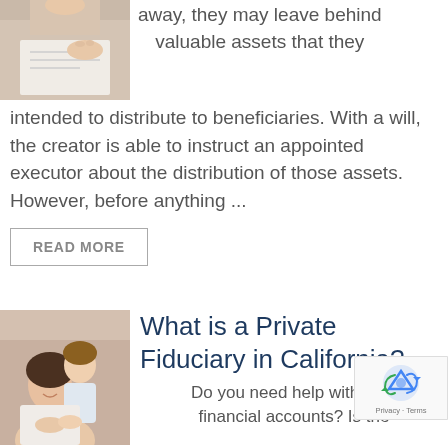[Figure (photo): Person signing or reading a document]
away, they may leave behind valuable assets that they intended to distribute to beneficiaries. With a will, the creator is able to instruct an appointed executor about the distribution of those assets. However, before anything ...
READ MORE
[Figure (photo): Mother and daughter, woman smiling with child hugging her]
What is a Private Fiduciary in California?
Do you need help with your financial accounts? Is the one you can trust to manage your finan... Depending on your situation, you may